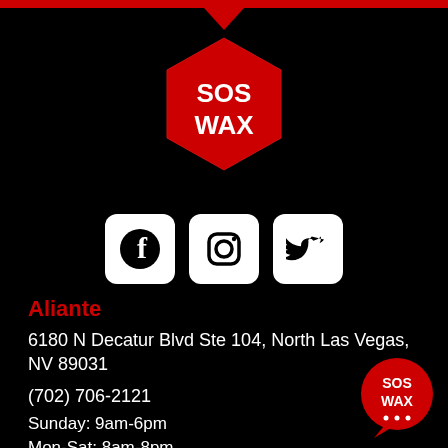[Figure (logo): SOS WAX red hexagon logo with white text]
[Figure (infographic): Row of three social media icons: Facebook, Instagram, Twitter, each in white rounded square]
Aliante
6180 N Decatur Blvd Ste 104, North Las Vegas, NV 89031
(702) 706-2121
Sunday: 9am-6pm
Mon-Sat: 8am-8pm
Wed-Fri: Open until 9pm
[Figure (logo): SOS WAX red circle chat bubble logo in bottom right corner]